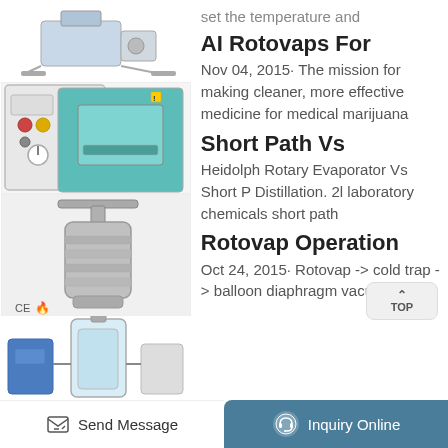[Figure (photo): Laboratory rotary evaporator machine, top left]
set the temperature and
[Figure (photo): Vacuum oven with teal/green interior, laboratory equipment]
AI Rotovaps For
Nov 04, 2015· The mission for making cleaner, more effective medicine for medical marijuana
[Figure (photo): Stainless steel hydrothermal synthesis autoclave reactor vessel with CE mark]
Short Path Vs
Heidolph Rotary Evaporator Vs Short P Distillation. 2l laboratory chemicals short path
[Figure (photo): Laboratory distillation setup with glass reactor and support equipment]
Rotovap Operation
Oct 24, 2015· Rotovap -> cold trap -> balloon diaphragm vacuum +
Send Message
Inquiry Online